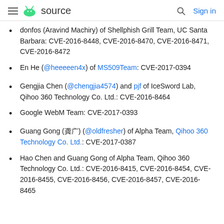source  Sign in
donfos (Aravind Machiry) of Shellphish Grill Team, UC Santa Barbara: CVE-2016-8448, CVE-2016-8470, CVE-2016-8471, CVE-2016-8472
En He (@heeeeen4x) of MS509Team: CVE-2017-0394
Gengjia Chen (@chengjia4574) and pjf of IceSword Lab, Qihoo 360 Technology Co. Ltd.: CVE-2016-8464
Google WebM Team: CVE-2017-0393
Guang Gong (龚广) (@oldfresher) of Alpha Team, Qihoo 360 Technology Co. Ltd.: CVE-2017-0387
Hao Chen and Guang Gong of Alpha Team, Qihoo 360 Technology Co. Ltd.: CVE-2016-8415, CVE-2016-8454, CVE-2016-8455, CVE-2016-8456, CVE-2016-8457, CVE-2016-8465